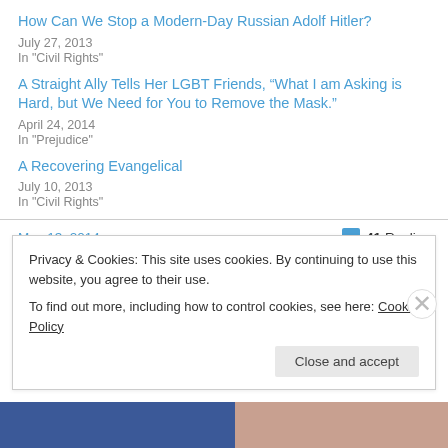How Can We Stop a Modern-Day Russian Adolf Hitler?
July 27, 2013
In "Civil Rights"
A Straight Ally Tells Her LGBT Friends, “What I am Asking is Hard, but We Need for You to Remove the Mask.”
April 24, 2014
In "Prejudice"
A Recovering Evangelical
July 10, 2013
In "Civil Rights"
May 13, 2014
41 Replies
Privacy & Cookies: This site uses cookies. By continuing to use this website, you agree to their use.
To find out more, including how to control cookies, see here: Cookie Policy
Close and accept